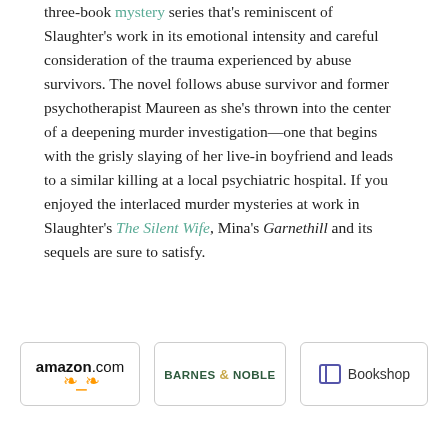three-book mystery series that's reminiscent of Slaughter's work in its emotional intensity and careful consideration of the trauma experienced by abuse survivors. The novel follows abuse survivor and former psychotherapist Maureen as she's thrown into the center of a deepening murder investigation—one that begins with the grisly slaying of her live-in boyfriend and leads to a similar killing at a local psychiatric hospital. If you enjoyed the interlaced murder mysteries at work in Slaughter's The Silent Wife, Mina's Garnethill and its sequels are sure to satisfy.
[Figure (other): Three retailer buttons: amazon.com, BARNES & NOBLE, and Bookshop]